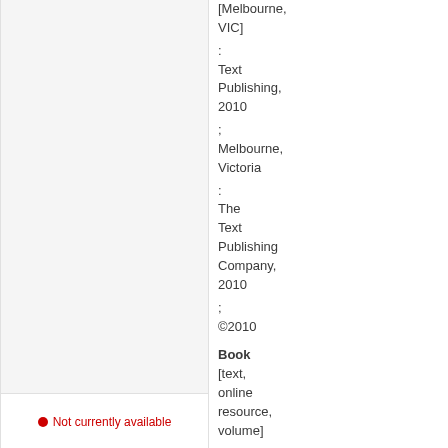[Melbourne, VIC] : Text Publishing, 2010 ; Melbourne, Victoria : The Text Publishing Company, 2010 ; ©2010
Book [text, online resource, volume]
Not currently available
Nine Days /